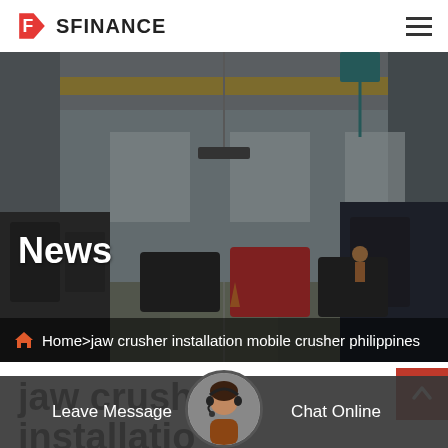SFINANCE
[Figure (photo): Industrial factory interior with overhead cranes, machinery, and workers — hero banner image for a news page]
News
Home>jaw crusher installation mobile crusher philippines
jaw crusher installation mobile crusher
Leave Message   Chat Online